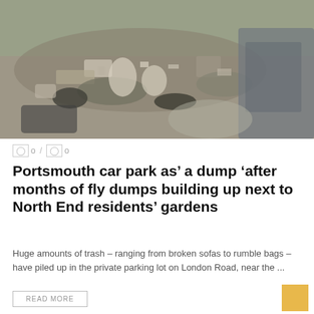[Figure (photo): Outdoor photo showing large amounts of rubbish and fly-tipped waste piled up in what appears to be a car park or outdoor area, with bags, broken items and debris scattered across the ground.]
0 / 0
Portsmouth car park as’ a dump ‘after months of fly dumps building up next to North End residents’ gardens
Huge amounts of trash – ranging from broken sofas to rumble bags – have piled up in the private parking lot on London Road, near the ...
READ MORE